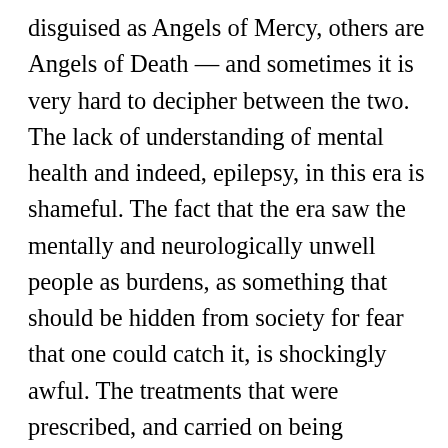disguised as Angels of Mercy, others are Angels of Death — and sometimes it is very hard to decipher between the two. The lack of understanding of mental health and indeed, epilepsy, in this era is shameful. The fact that the era saw the mentally and neurologically unwell people as burdens, as something that should be hidden from society for fear that one could catch it, is shockingly awful. The treatments that were prescribed, and carried on being prescribed for decades is disgraceful. Cox also asks her readers to consider the difference between the staff at Dunning and the patients — who is the more insane? The one who does not remember their name, or the one who no longer feels